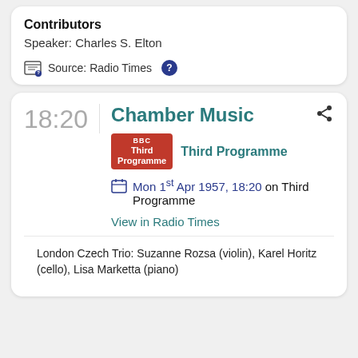Contributors
Speaker: Charles S. Elton
Source: Radio Times
Chamber Music
Third Programme
Mon 1st Apr 1957, 18:20 on Third Programme
View in Radio Times
London Czech Trio: Suzanne Rozsa (violin), Karel Horitz (cello), Lisa Marketta (piano)